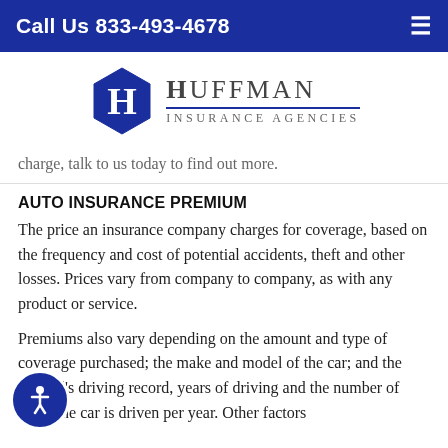Call Us 833-493-4678
[Figure (logo): Huffman Insurance Agencies logo with blue hexagon H icon and serif text]
charge, talk to us today to find out more.
AUTO INSURANCE PREMIUM
The price an insurance company charges for coverage, based on the frequency and cost of potential accidents, theft and other losses. Prices vary from company to company, as with any product or service.
Premiums also vary depending on the amount and type of coverage purchased; the make and model of the car; and the insured's driving record, years of driving and the number of miles the car is driven per year. Other factors